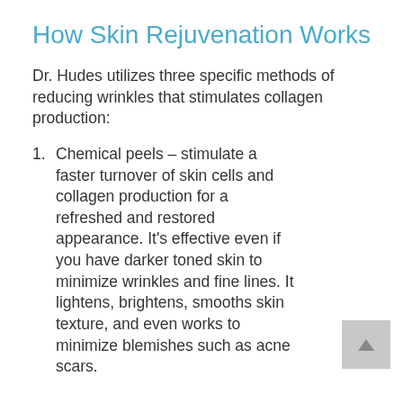How Skin Rejuvenation Works
Dr. Hudes utilizes three specific methods of reducing wrinkles that stimulates collagen production:
Chemical peels – stimulate a faster turnover of skin cells and collagen production for a refreshed and restored appearance. It's effective even if you have darker toned skin to minimize wrinkles and fine lines. It lightens, brightens, smooths skin texture, and even works to minimize blemishes such as acne scars.